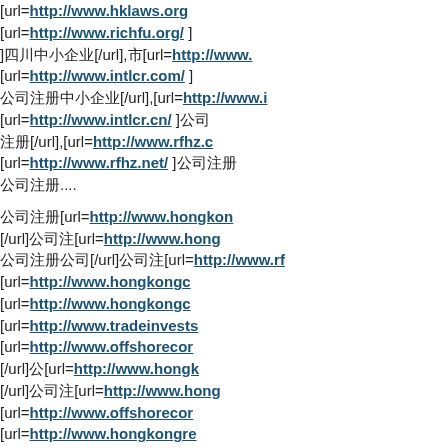[url=http://www.hklaws.org...]...[url=http://www.richfu.org/ ]...][url=/url],[][url=http://www....[url=http://www.intlcr.com/ ]...[][/url],[url=http://www.i...[url=http://www.intlcr.cn/ ][]..[][/url],[url=http://www.rfhz.c...[url=http://www.rfhz.net/ ][][]....[][url=http://www.hongkon...[/url][][url=http://www.hong...[][/url][][url=http://www.rf...[url=http://www.hongkongc...[url=http://www.hongkongc...[url=http://www.tradeinvests...[url=http://www.offshorecor...[/url][][url=http://www.hongk...[/url][][url=http://www.hong...[url=http://www.offshorecor...[url=http://www.hongkongre...[url=http://www.hongkongre...[url=http://www.offshorecor...[url=http://www.hongkon...